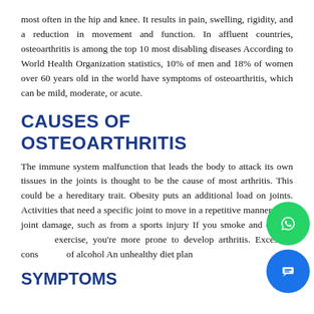most often in the hip and knee. It results in pain, swelling, rigidity, and a reduction in movement and function. In affluent countries, osteoarthritis is among the top 10 most disabling diseases According to World Health Organization statistics, 10% of men and 18% of women over 60 years old in the world have symptoms of osteoarthritis, which can be mild, moderate, or acute.
CAUSES OF OSTEOARTHRITIS
The immune system malfunction that leads the body to attack its own tissues in the joints is thought to be the cause of most arthritis. This could be a hereditary trait. Obesity puts an additional load on joints. Activities that need a specific joint to move in a repetitive manner Prior joint damage, such as from a sports injury If you smoke and don't get exercise, you're more prone to develop arthritis. Excessive consumption of alcohol An unhealthy diet plan
SYMPTOMS